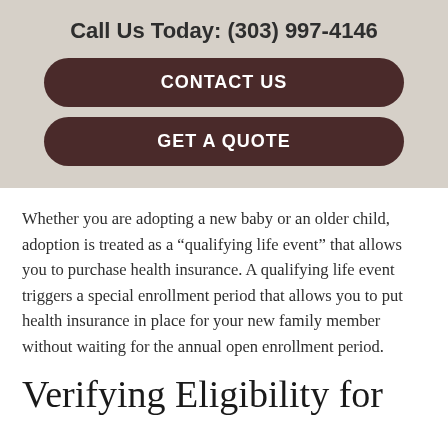Call Us Today: (303) 997-4146
CONTACT US
GET A QUOTE
Whether you are adopting a new baby or an older child, adoption is treated as a “qualifying life event” that allows you to purchase health insurance. A qualifying life event triggers a special enrollment period that allows you to put health insurance in place for your new family member without waiting for the annual open enrollment period.
Verifying Eligibility for